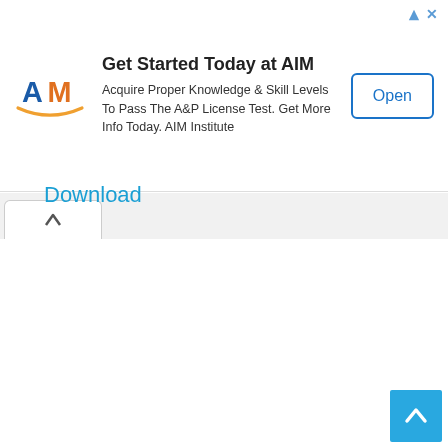[Figure (screenshot): Advertisement banner for AIM Institute showing logo, headline 'Get Started Today at AIM', body text, and Open button]
Download
[Figure (other): Scroll-to-top button with upward chevron arrow, cyan/blue background, bottom-right corner]